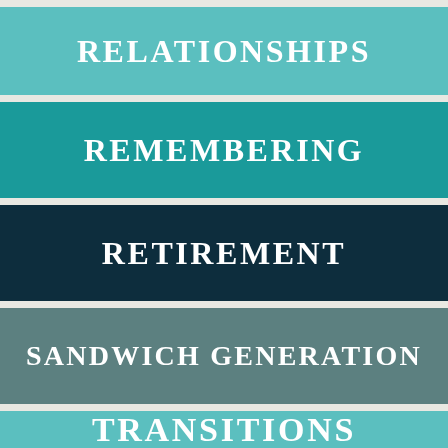[Figure (infographic): Stacked colored horizontal banner strips with white bold text labels: RELATIONSHIPS (light teal), REMEMBERING (dark teal), RETIREMENT (dark navy), SANDWICH GENERATION (muted teal-gray), TRANSITIONS (light teal)]